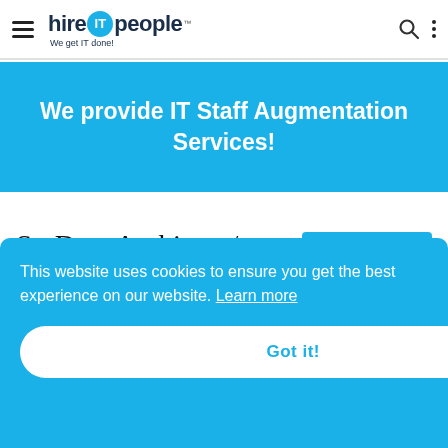hire IT people — We get IT done! [hamburger menu, search, dots icons]
We provide IT Staff Augmentation Services!
Sr. Data Architect / Modeler Resume
☞ Hire Now
Atlanta, GA
SUMMARY
Highly effective Data Architect with over 8 years of
This website uses cookies to ensure you get the best experience on our website. Learn more
Got it!